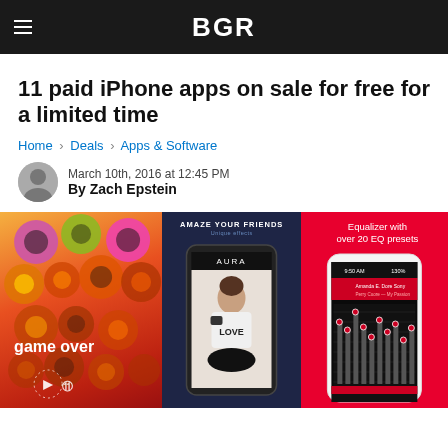BGR
11 paid iPhone apps on sale for free for a limited time
Home › Deals › Apps & Software
March 10th, 2016 at 12:45 PM
By Zach Epstein
[Figure (photo): Three iPhone app screenshots side by side: a colorful circles game (game over screen), an Aura photo app (AMAZE YOUR FRIENDS), and a music equalizer app (Equalizer with over 20 EQ presets)]